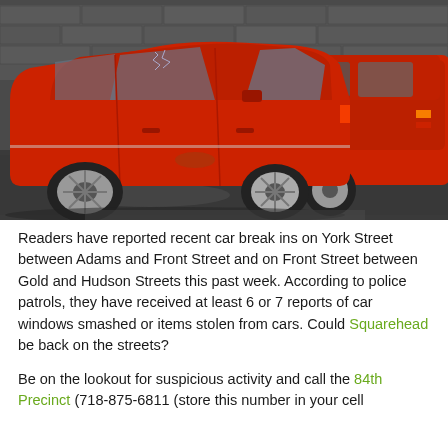[Figure (photo): Two red cars parked side by side on a street. The car in the foreground is a red sedan with a smashed/broken rear window, photographed from the side. Behind it is another red car. The background shows a stone or concrete wall.]
Readers have reported recent car break ins on York Street between Adams and Front Street and on Front Street between Gold and Hudson Streets this past week. According to police patrols, they have received at least 6 or 7 reports of car windows smashed or items stolen from cars. Could Squarehead be back on the streets?
Be on the lookout for suspicious activity and call the 84th Precinct (718-875-6811 (store this number in your cell